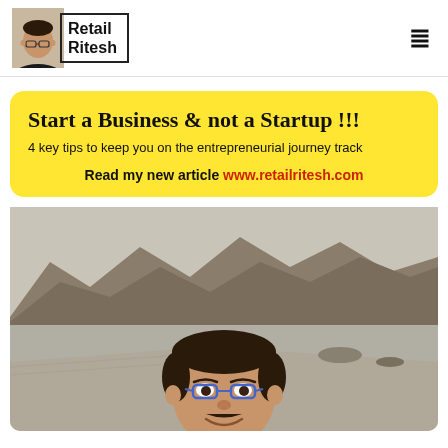Retail Ritesh
Start a Business & not a Startup !!!
4 key tips to keep you on the entrepreneurial journey track
Read my new article www.retailritesh.com
[Figure (photo): Man taking a selfie at a seaside promenade with rocky mountains and calm water in the background]